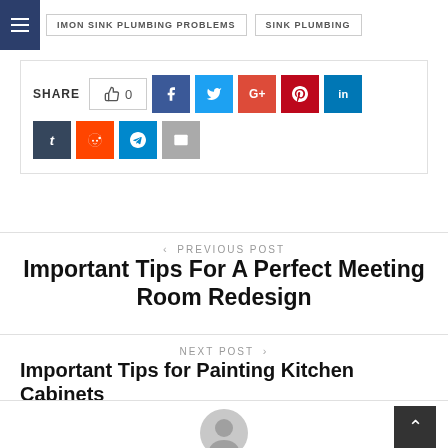MON SINK PLUMBING PROBLEMS   SINK PLUMBING
SHARE  0  (social share buttons: Facebook, Twitter, Google+, Pinterest, LinkedIn, Tumblr, Reddit, Telegram, Email)
< PREVIOUS POST
Important Tips For A Perfect Meeting Room Redesign
NEXT POST >
Important Tips for Painting Kitchen Cabinets
[Figure (illustration): Author avatar placeholder - circular grey silhouette icon]